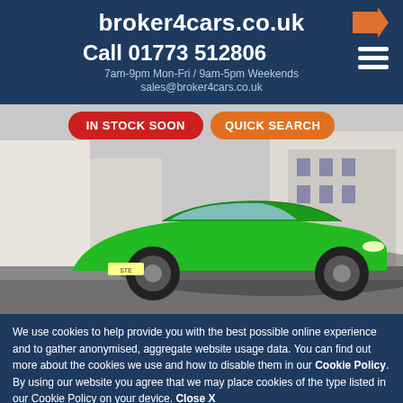broker4cars.co.uk
Call 01773 512806
7am-9pm Mon-Fri / 9am-5pm Weekends
sales@broker4cars.co.uk
[Figure (photo): Green Lamborghini Huracán sports car parked on a cobblestone street with European-style buildings in the background. Overlaid badges read 'IN STOCK SOON' (red) and 'QUICK SEARCH' (orange).]
We use cookies to help provide you with the best possible online experience and to gather anonymised, aggregate website usage data. You can find out more about the cookies we use and how to disable them in our Cookie Policy. By using our website you agree that we may place cookies of the type listed in our Cookie Policy on your device. Close X